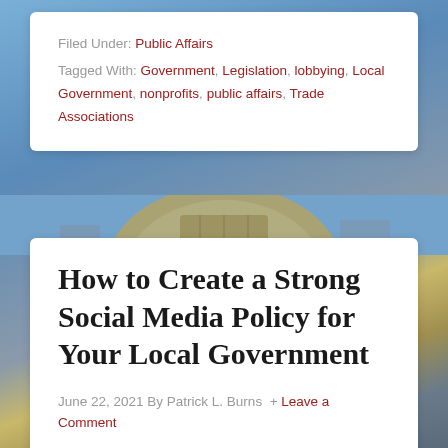Filed Under: Public Affairs
Tagged With: Government, Legislation, lobbying, Local Government, nonprofits, public affairs, Trade Associations
[Figure (photo): Government building dome with gold cupola against a blue sky with clouds]
How to Create a Strong Social Media Policy for Your Local Government
June 22, 2021 By Patrick L. Burns + Leave a Comment